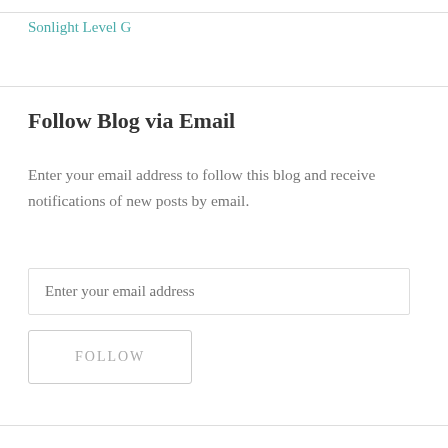Sonlight Level G
Follow Blog via Email
Enter your email address to follow this blog and receive notifications of new posts by email.
Enter your email address
FOLLOW